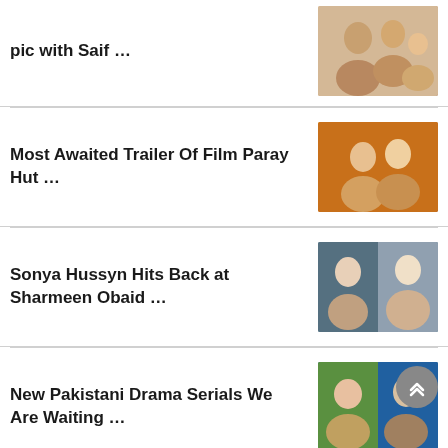pic with Saif …
[Figure (photo): Family photo with Saif thumbnail]
Most Awaited Trailer Of Film Paray Hut …
[Figure (photo): Film Paray Hut movie still thumbnail]
Sonya Hussyn Hits Back at Sharmeen Obaid …
[Figure (photo): Sonya Hussyn and Sharmeen Obaid thumbnail]
New Pakistani Drama Serials We Are Waiting …
[Figure (photo): Pakistani drama serials thumbnail]
Yasir Hussain back to theatre with